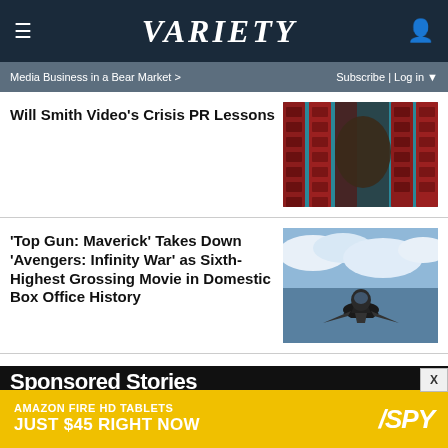VARIETY
Media Business in a Bear Market > | Subscribe | Log in
Will Smith Video’s Crisis PR Lessons
[Figure (photo): Will Smith portrait with red film strip bars overlaid on a teal background]
‘Top Gun: Maverick’ Takes Down ‘Avengers: Infinity War’ as Sixth-Highest Grossing Movie in Domestic Box Office History
[Figure (photo): Top Gun Maverick film still showing a pilot in a jet cockpit against a sky background]
Sponsored Stories
[Figure (other): Amazon Fire HD Tablets advertisement banner - AMAZON FIRE HD TABLETS JUST $45 RIGHT NOW - SPY logo on yellow background]